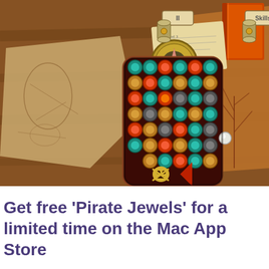[Figure (screenshot): Screenshot of 'Pirate Jewels' game showing a match-3 puzzle board with colorful jewel tokens (teal, red, gold, brown) arranged in a grid, set on a pirate-themed background with old maps, a compass, books, and wooden surfaces. UI buttons labeled 'II' and 'Skills' visible at top.]
Get free 'Pirate Jewels' for a limited time on the Mac App Store